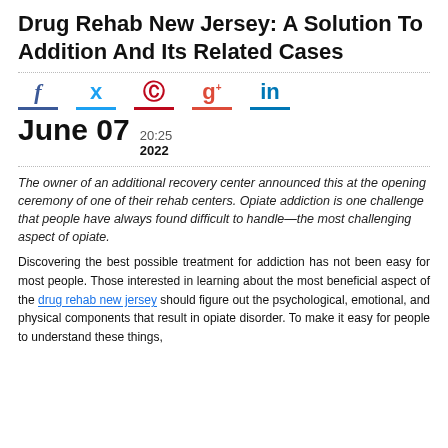Drug Rehab New Jersey: A Solution To Addition And Its Related Cases
[Figure (other): Social media icons row: Facebook (f), Twitter (bird), Pinterest (circle P), Google+ (g+), LinkedIn (in), each with colored underline]
June 07   20:25  2022
The owner of an additional recovery center announced this at the opening ceremony of one of their rehab centers. Opiate addiction is one challenge that people have always found difficult to handle—the most challenging aspect of opiate.
Discovering the best possible treatment for addiction has not been easy for most people. Those interested in learning about the most beneficial aspect of the drug rehab new jersey should figure out the psychological, emotional, and physical components that result in opiate disorder. To make it easy for people to understand these things, the owner of a rehab center in Florida...